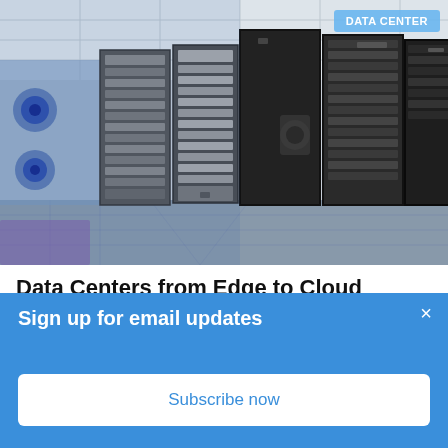[Figure (photo): Photo of a data center showing rows of black server racks in a modern facility with blue-tinted lighting and raised floor tiles]
DATA CENTER
Data Centers from Edge to Cloud
Sign up for email updates
Subscribe now